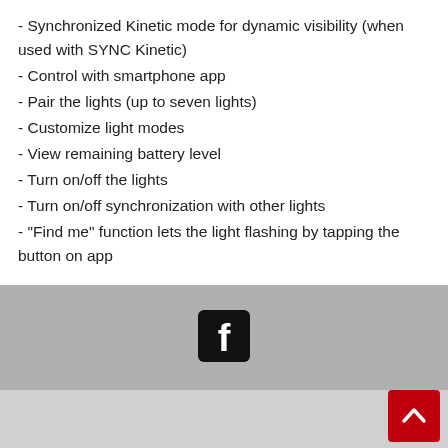- Synchronized Kinetic mode for dynamic visibility (when used with SYNC Kinetic)
- Control with smartphone app
- Pair the lights (up to seven lights)
- Customize light modes
- View remaining battery level
- Turn on/off the lights
- Turn on/off synchronization with other lights
- "Find me" function lets the light flashing by tapping the button on app
[Figure (logo): Facebook logo icon (white f on black rounded square background)]
[Figure (other): Back to top button - red square with white upward chevron arrow]